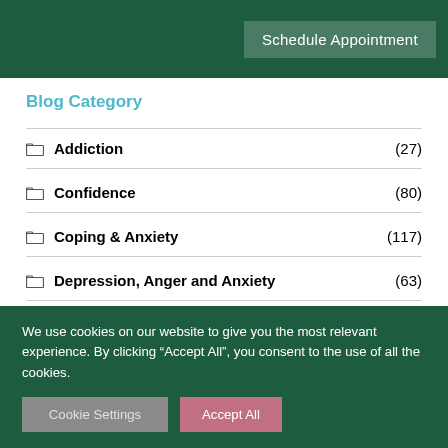Schedule Appointment
Blog Category
Addiction (27)
Confidence (80)
Coping & Anxiety (117)
Depression, Anger and Anxiety (63)
Fear (42)
Five Week Awareness Challenge (5)
We use cookies on our website to give you the most relevant experience. By clicking “Accept All”, you consent to the use of all the cookies.
Cookie Settings | Accept All